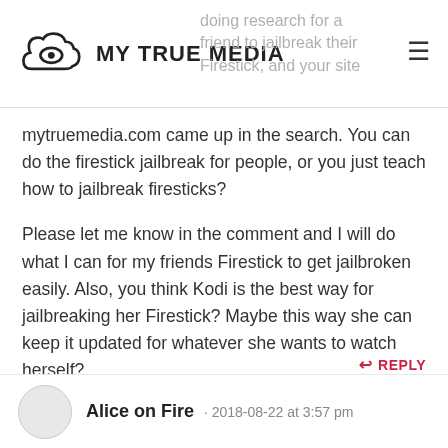MY TRUE MEDIA
mytruemedia.com came up in the search. You can do the firestick jailbreak for people, or you just teach how to jailbreak firesticks?
Please let me know in the comment and I will do what I can for my friends Firestick to get jailbroken easily. Also, you think Kodi is the best way for jailbreaking her Firestick? Maybe this way she can keep it updated for whatever she wants to watch herself?
Sincerely,
Jeff
REPLY
Alice on Fire · 2018-08-22 at 3:57 pm